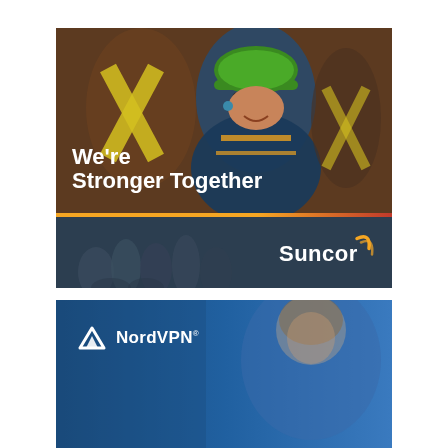[Figure (photo): Suncor promotional card. Top half: photo of a smiling woman wearing a green hard hat and safety vest with text overlay 'We're Stronger Together' in bold white. A thin orange-red divider bar separates the image from a dark navy bottom section containing the Suncor logo (arc swoosh and wordmark in white).]
[Figure (photo): NordVPN promotional card. Dark blue background with a blurred photo of a woman looking downward. NordVPN logo (white shield/arc icon) and 'NordVPN' text with trademark symbol in the upper left.]